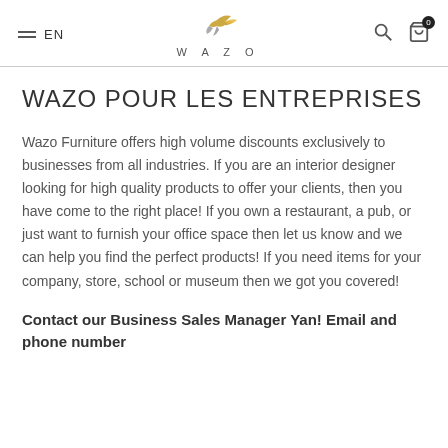EN | WAZO
WAZO POUR LES ENTREPRISES
Wazo Furniture offers high volume discounts exclusively to businesses from all industries. If you are an interior designer looking for high quality products to offer your clients, then you have come to the right place! If you own a restaurant, a pub, or just want to furnish your office space then let us know and we can help you find the perfect products! If you need items for your company, store, school or museum then we got you covered!
Contact our Business Sales Manager Yan! Email and phone number